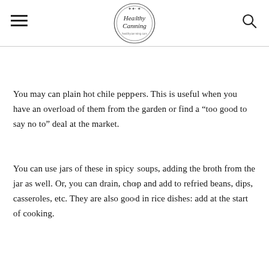Healthy Canning — healthycanning.com
You may can plain hot chile peppers. This is useful when you have an overload of them from the garden or find a “too good to say no to” deal at the market.
You can use jars of these in spicy soups, adding the broth from the jar as well. Or, you can drain, chop and add to refried beans, dips, casseroles, etc. They are also good in rice dishes: add at the start of cooking.